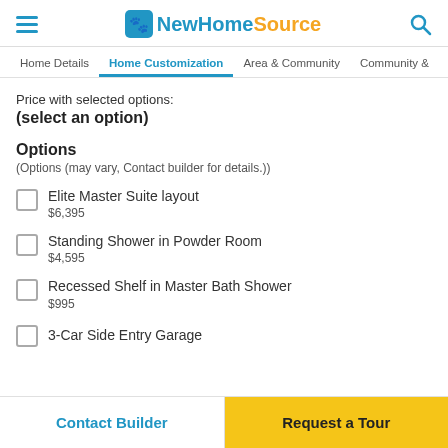NewHomeSource
Home Details | Home Customization | Area & Community | Community &
Price with selected options:
(select an option)
Options
(Options (may vary, Contact builder for details.))
Elite Master Suite layout
$6,395
Standing Shower in Powder Room
$4,595
Recessed Shelf in Master Bath Shower
$995
3-Car Side Entry Garage
Contact Builder | Request a Tour